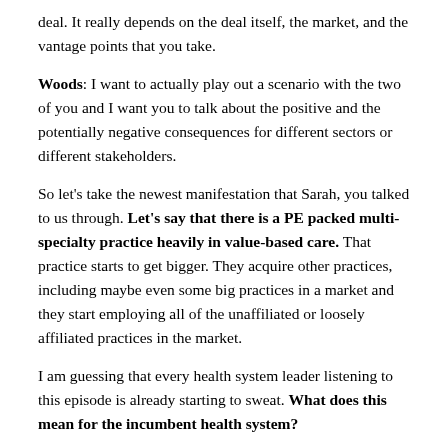deal. It really depends on the deal itself, the market, and the vantage points that you take.
Woods: I want to actually play out a scenario with the two of you and I want you to talk about the positive and the potentially negative consequences for different sectors or different stakeholders.
So let's take the newest manifestation that Sarah, you talked to us through. Let's say that there is a PE packed multi-specialty practice heavily in value-based care. That practice starts to get bigger. They acquire other practices, including maybe even some big practices in a market and they start employing all of the unaffiliated or loosely affiliated practices in the market.
I am guessing that every health system leader listening to this episode is already starting to sweat. What does this mean for the incumbent health system?